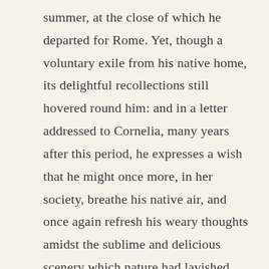summer, at the close of which he departed for Rome. Yet, though a voluntary exile from his native home, its delightful recollections still hovered round him: and in a letter addressed to Cornelia, many years after this period, he expresses a wish that he might once more, in her society, breathe his native air, and once again refresh his weary thoughts amidst the sublime and delicious scenery which nature had lavished round his home with so unsparing a hand. The aspiration was in vain — the illustrious poet was fated never more to visit the scene of